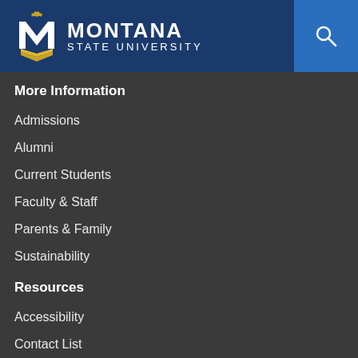[Figure (logo): Montana State University logo with M emblem and university name in white text on dark blue header bar]
More Information
Admissions
Alumni
Current Students
Faculty & Staff
Parents & Family
Sustainability
Resources
Accessibility
Contact List
Directories
Diversity & Inclusion
Jobs
Legal & Privacy Policy